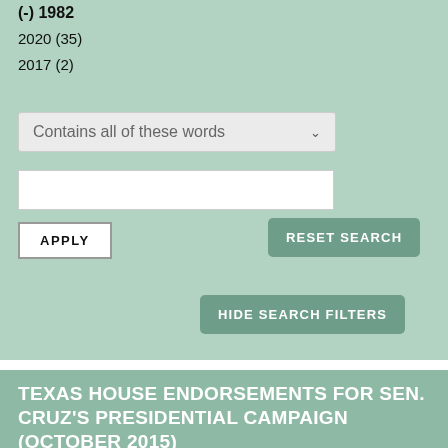(-) 1982
2020 (35)
2017 (2)
Contains all of these words
APPLY
RESET SEARCH
HIDE SEARCH FILTERS
TEXAS HOUSE ENDORSEMENTS FOR SEN. CRUZ'S PRESIDENTIAL CAMPAIGN (OCTOBER 2015)
TABLE | SHARE | MORE
TEXAS HOUSE ENDORSEMENTS FOR SEN. CRUZ'S